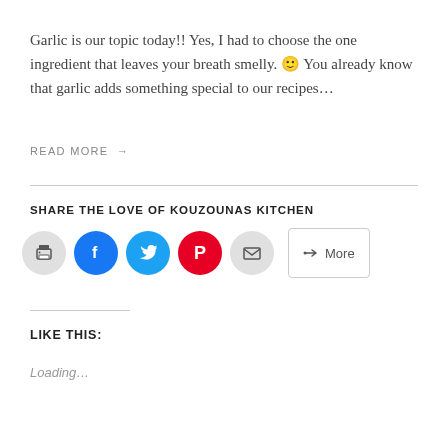Garlic is our topic today!! Yes, I had to choose the one ingredient that leaves your breath smelly. 🙂 You already know that garlic adds something special to our recipes…
READ MORE →
SHARE THE LOVE OF KOUZOUNAS KITCHEN
[Figure (other): Row of social share buttons: print (gray circle), Facebook (blue circle), Twitter (cyan circle), Pinterest (red circle), email (gray circle), and a More button]
LIKE THIS:
Loading…